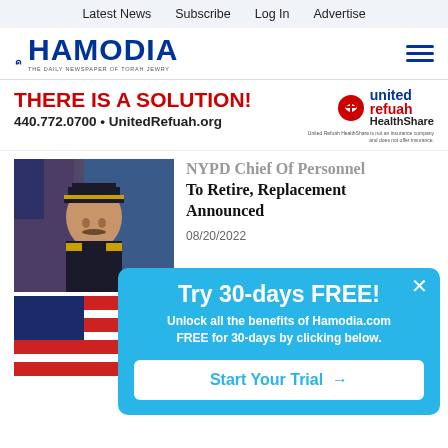Latest News   Subscribe   Log In   Advertise
[Figure (logo): Hamodia newspaper logo — bold blue text 'HAMODIA' with subtitle 'THE DAILY NEWSPAPER OF TORAH JEWRY']
[Figure (infographic): United Refuah HealthShare advertisement: 'THERE IS A SOLUTION! 440.772.0700 • UnitedRefuah.org' with United Refuah HealthShare logo and disclaimer text]
[Figure (photo): Photo of NYPD Chief of Personnel in uniform with American flag background]
NYPD Chief Of Personnel To Retire, Replacement Announced
08/20/2022
[Figure (photo): Second news article photo showing American flag]
Try 30-days FREE! Unlock all the benefits of Hamodia.com FREE for 30-days by clicking below. Start Your Trial →